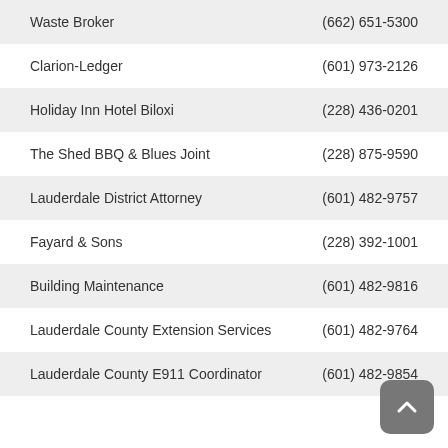| Name | Phone |
| --- | --- |
| Waste Broker | (662) 651-5300 |
| Clarion-Ledger | (601) 973-2126 |
| Holiday Inn Hotel Biloxi | (228) 436-0201 |
| The Shed BBQ & Blues Joint | (228) 875-9590 |
| Lauderdale District Attorney | (601) 482-9757 |
| Fayard & Sons | (228) 392-1001 |
| Building Maintenance | (601) 482-9816 |
| Lauderdale County Extension Services | (601) 482-9764 |
| Lauderdale County E911 Coordinator | (601) 482-9854 |